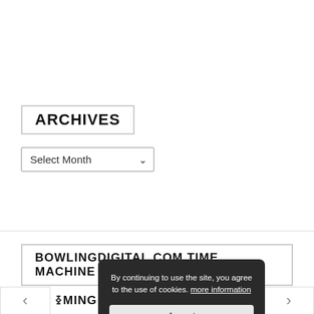ARCHIVES
Select Month
BOWLINGDIGITAL.COM TIME MACHINE
Browse our huge archive way back to the year 2005
By continuing to use the site, you agree to the use of cookies. more information
Accept
< ×MING EVENTS >